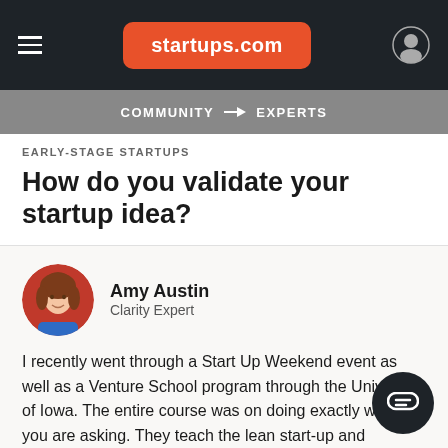startups.com
COMMUNITY → EXPERTS
EARLY-STAGE STARTUPS
How do you validate your startup idea?
Amy Austin
Clarity Expert
I recently went through a Start Up Weekend event as well as a Venture School program through the University of Iowa. The entire course was on doing exactly what you are asking. They teach the lean start-up and business canvas model of proving a business idea.